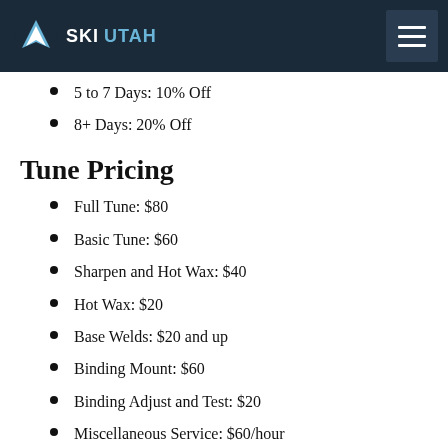SKI UTAH
5 to 7 Days: 10% Off
8+ Days: 20% Off
Tune Pricing
Full Tune: $80
Basic Tune: $60
Sharpen and Hot Wax: $40
Hot Wax: $20
Base Welds: $20 and up
Binding Mount: $60
Binding Adjust and Test: $20
Miscellaneous Service: $60/hour